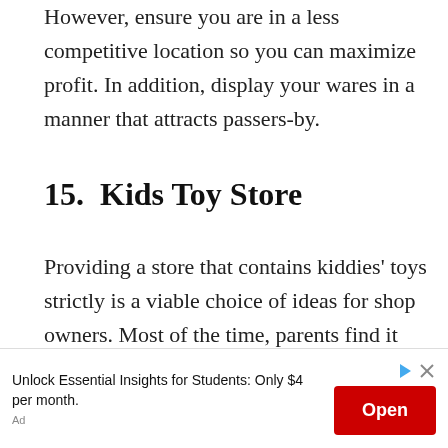However, ensure you are in a less competitive location so you can maximize profit. In addition, display your wares in a manner that attracts passers-by.
15.  Kids Toy Store
Providing a store that contains kiddies' toys strictly is a viable choice of ideas for shop owners. Most of the time, parents find it easier to buy stuff for their kids than ...
[Figure (other): Advertisement banner: 'Unlock Essential Insights for Students: Only $4 per month.' with an 'Open' button in red, ad controls (play/close icons), and an 'Ad' label.]